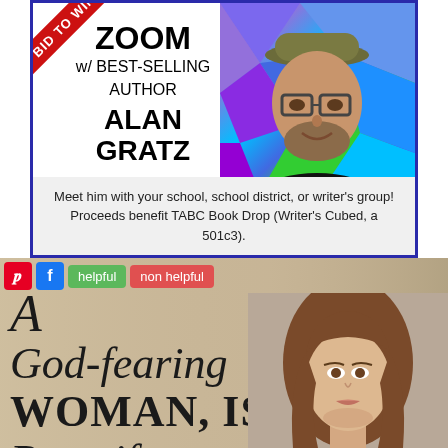[Figure (infographic): Auction/promotional flyer with blue border. Red diagonal 'BID TO WIN' banner in top-left corner. Left side text: ZOOM w/ BEST-SELLING AUTHOR ALAN GRATZ. Right side shows a photo of a bearded man wearing a hat and glasses against a colorful geometric background. Bottom caption reads: Meet him with your school, school district, or writer's group! Proceeds benefit TABC Book Drop (Writer's Cubed, a 501c3).]
[Figure (photo): Social media post showing a book cover with italic title text 'A God-fearing WOMAN, IS' and a photo of a young woman with long brown hair on the right side. Social sharing buttons (Pinterest, Facebook) and helpful/non helpful buttons visible at top.]